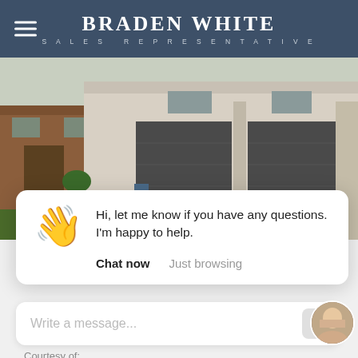BRADEN WHITE SALES REPRESENTATIVE
[Figure (photo): Exterior photo of modern residential homes with gravel driveway and grass lawn, showing brick and stone townhouses with dark garage doors]
[Figure (screenshot): Chat widget popup with waving hand emoji saying 'Hi, let me know if you have any questions. I'm happy to help.' with 'Chat now' and 'Just browsing' buttons]
Write a message...
Courtesy of: